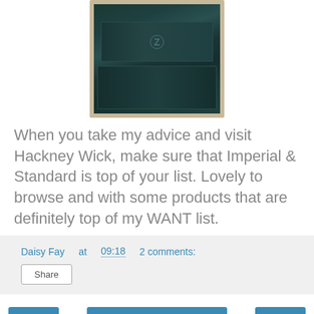[Figure (photo): Stacked vintage dark green/teal metal trunks or suitcases in a room, photographed in a polaroid-style frame with warm beige border]
When you take my advice and visit Hackney Wick, make sure that Imperial & Standard is top of your list. Lovely to browse and with some products that are definitely top of my WANT list.
Daisy Fay at 09:18   2 comments:
Share
‹
Home
›
View web version